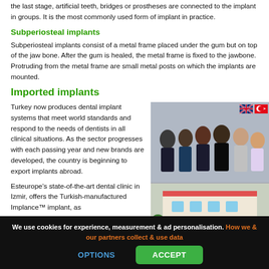the last stage, artificial teeth, bridges or prostheses are connected to the implant in groups. It is the most commonly used form of implant in practice.
Subperiosteal implants
Subperiosteal implants consist of a metal frame placed under the gum but on top of the jaw bone. After the gum is healed, the metal frame is fixed to the jawbone. Protruding from the metal frame are small metal posts on which the implants are mounted.
Imported implants
Turkey now produces dental implant systems that meet world standards and respond to the needs of dentists in all clinical situations. As the sector progresses with each passing year and new brands are developed, the country is beginning to export implants abroad.
Esteurope’s state-of-the-art dental clinic in Izmir, offers the Turkish-manufactured Implance™ implant, as
[Figure (photo): Group photo of a dental clinic team (several people in medical scrubs and casual clothing standing together) above a photo of a building exterior, with UK and Turkish flag icons in top right corner.]
We use cookies for experience, measurement & ad personalisation. How we & our partners collect & use data
OPTIONS     ACCEPT